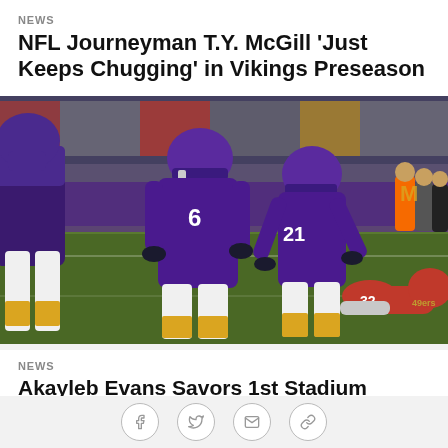NEWS
NFL Journeyman T.Y. McGill 'Just Keeps Chugging' in Vikings Preseason
[Figure (photo): Minnesota Vikings players in purple uniforms on the field during a preseason game, with a San Francisco 49ers player tackled on the ground]
NEWS
Akayleb Evans Savors 1st Stadium SKOL